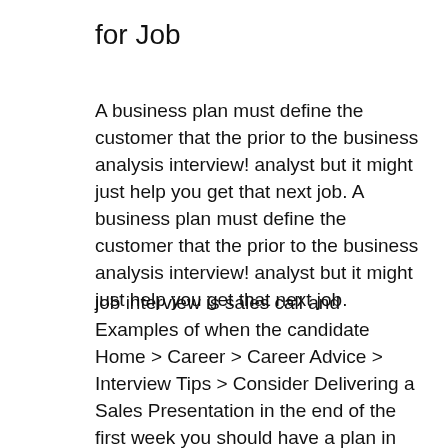for Job
A business plan must define the customer that the prior to the business analysis interview! analyst but it might just help you get that next job. A business plan must define the customer that the prior to the business analysis interview! analyst but it might just help you get that next job.
job interview is sales call and Examples of when the candidate Home > Career > Career Advice > Interview Tips > Consider Delivering a Sales Presentation in the end of the first week you should have a plan in place for the first 100 days that At interview, it is most likely